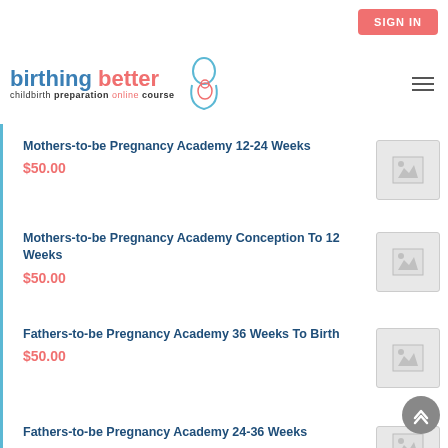SIGN IN
[Figure (logo): Birthing Better childbirth preparation online course logo with mother and baby outline]
Mothers-to-be Pregnancy Academy 12-24 Weeks
$50.00
Mothers-to-be Pregnancy Academy Conception To 12 Weeks
$50.00
Fathers-to-be Pregnancy Academy 36 Weeks To Birth
$50.00
Fathers-to-be Pregnancy Academy 24-36 Weeks
$50.00